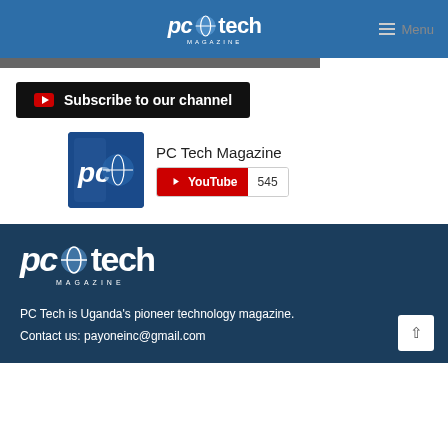PC Tech Magazine — Menu
[Figure (logo): PC Tech Magazine logo in header]
[Figure (screenshot): Subscribe to our channel YouTube button widget showing PC Tech Magazine with 545 subscribers]
[Figure (logo): PC Tech Magazine logo in footer]
PC Tech is Uganda's pioneer technology magazine. Contact us: payoneinc@gmail.com